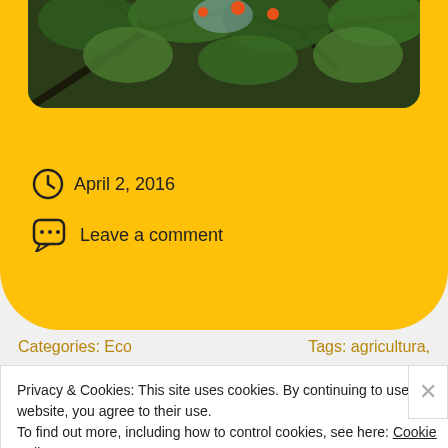[Figure (photo): Photograph of tree branches with orange fruit and green leaves against a bright sky, shown at top of page]
April 2, 2016
Leave a comment
Categories: Eco
Tags: agricultura,
Privacy & Cookies: This site uses cookies. By continuing to use this website, you agree to their use.
To find out more, including how to control cookies, see here: Cookie Policy
Close and accept